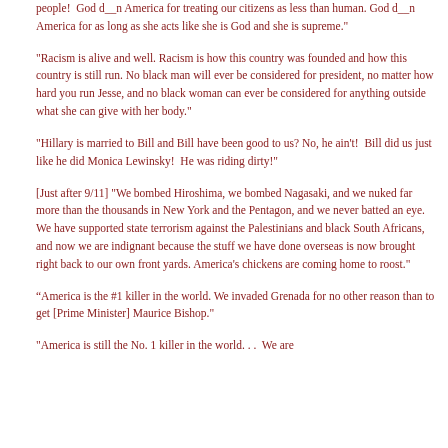people!  God d__n America for treating our citizens as less than human. God d__n America for as long as she acts like she is God and she is supreme."
"Racism is alive and well. Racism is how this country was founded and how this country is still run. No black man will ever be considered for president, no matter how hard you run Jesse, and no black woman can ever be considered for anything outside what she can give with her body."
"Hillary is married to Bill and Bill have been good to us? No, he ain't!  Bill did us just like he did Monica Lewinsky!  He was riding dirty!"
[Just after 9/11] "We bombed Hiroshima, we bombed Nagasaki, and we nuked far more than the thousands in New York and the Pentagon, and we never batted an eye.  We have supported state terrorism against the Palestinians and black South Africans, and now we are indignant because the stuff we have done overseas is now brought right back to our own front yards. America's chickens are coming home to roost."
“America is the #1 killer in the world. We invaded Grenada for no other reason than to get [Prime Minister] Maurice Bishop."
"America is still the No. 1 killer in the world. . .  We are